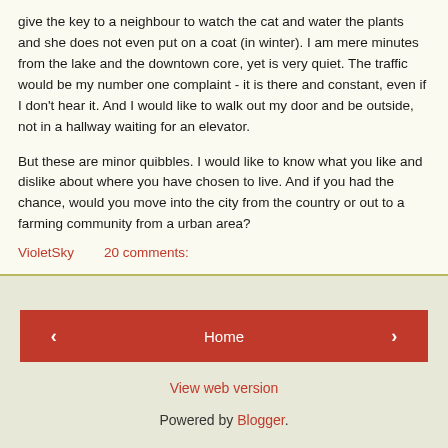give the key to a neighbour to watch the cat and water the plants and she does not even put on a coat (in winter). I am mere minutes from the lake and the downtown core, yet is very quiet. The traffic would be my number one complaint - it is there and constant, even if I don't hear it. And I would like to walk out my door and be outside, not in a hallway waiting for an elevator.
But these are minor quibbles. I would like to know what you like and dislike about where you have chosen to live. And if you had the chance, would you move into the city from the country or out to a farming community from a urban area?
VioletSky    20 comments:
◄  Home  ►
View web version
Powered by Blogger.